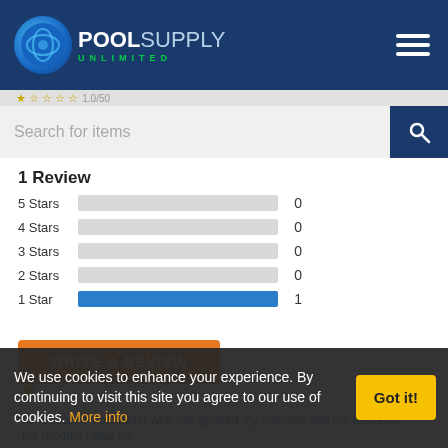[Figure (logo): Pool Supply Unlimited logo on dark blue header with hamburger menu icon]
Search for items
1 Review
| Stars | Bar | Count |
| --- | --- | --- |
| 5 Stars | (empty bar) | 0 |
| 4 Stars | (empty bar) | 0 |
| 3 Stars | (empty bar) | 0 |
| 2 Stars | (empty bar) | 0 |
| 1 Star | (full blue bar) | 1 |
WRITE A REVIEW
[Figure (illustration): 1 gold star followed by 4 empty stars rating]
no response from seller who has ignored my inquiries and not delivered the product I paid for
We use cookies to enhance your experience. By continuing to visit this site you agree to our use of cookies. More info
Got it!